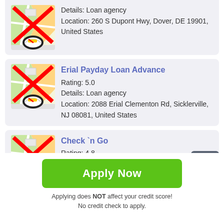[Figure (screenshot): Partial loan agency card showing map icon with red X overlay and speedometer icon. Details: Loan agency. Location: 260 S Dupont Hwy, Dover, DE 19901, United States.]
Details: Loan agency
Location: 260 S Dupont Hwy, Dover, DE 19901, United States
[Figure (screenshot): Map icon with red X overlay and location pin/speedometer icon for Erial Payday Loan Advance]
Erial Payday Loan Advance
Rating: 5.0
Details: Loan agency
Location: 2088 Erial Clementon Rd, Sicklerville, NJ 08081, United States
[Figure (screenshot): Map icon with red X overlay and location pin/speedometer icon for Check 'n Go]
Check `n Go
Rating: 4.8
Details: Loan agency
Apply Now
Applying does NOT affect your credit score!
No credit check to apply.